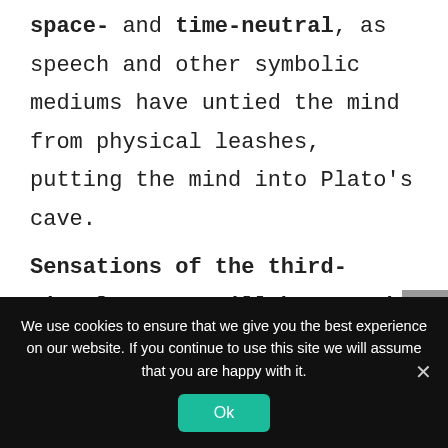space- and time-neutral, as speech and other symbolic mediums have untied the mind from physical leashes, putting the mind into Plato’s cave.
Sensations of the third-signal system will have to be space-ignorant, but time-biased.
We use cookies to ensure that we give you the best experience on our website. If you continue to use this site we will assume that you are happy with it.